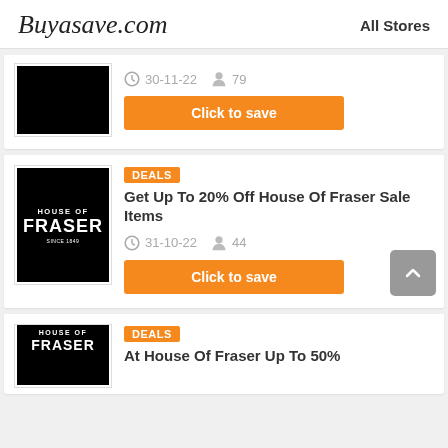Buyasave.com | All Stores
[Figure (screenshot): First coupon card (partial): black store logo box, date 30-11-22, 79 uses, Click to save button]
[Figure (screenshot): House of Fraser DEALS coupon card: Get Up To 20% Off House Of Fraser Sale Items, date 31-10-22, 44 uses, Click to save button]
[Figure (screenshot): Second House of Fraser DEALS coupon card (partial): At House Of Fraser Up To 50%...]